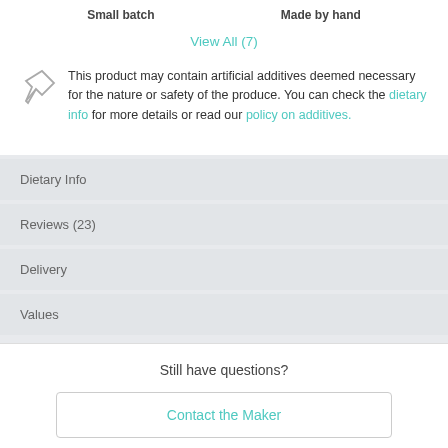Small batch   Made by hand
View All (7)
This product may contain artificial additives deemed necessary for the nature or safety of the produce. You can check the dietary info for more details or read our policy on additives.
Dietary Info
Reviews (23)
Delivery
Values
Still have questions?
Contact the Maker